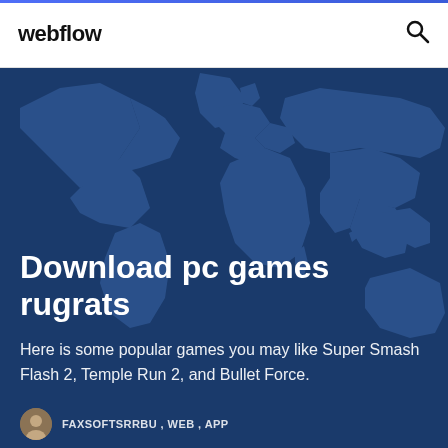webflow
[Figure (illustration): Dark blue world map background with continents visible as slightly lighter blue shapes on a deep navy/dark blue background]
Download pc games rugrats
Here is some popular games you may like Super Smash Flash 2, Temple Run 2, and Bullet Force.
FAXSOFTSRRBU , WEB , APP